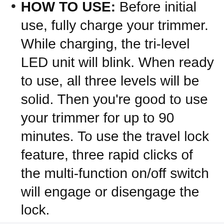HOW TO USE: Before initial use, fully charge your trimmer. While charging, the tri-level LED unit will blink. When ready to use, all three levels will be solid. Then you're good to use your trimmer for up to 90 minutes. To use the travel lock feature, three rapid clicks of the multi-function on/off switch will engage or disengage the lock.
GROIN, BODY & BACK: Our trimmers were designed for below-the-waist grooming but work great on your not so private parts too! With our SkinSafe replaceable blade, you can have multiple blades ready for all body areas with hair. Feel more confident,